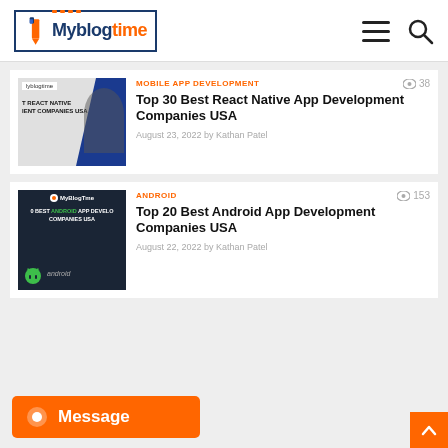Myblogtime
[Figure (screenshot): Thumbnail image for React Native article showing myblogtime logo and person working on laptop with blue geometric shapes]
MOBILE APP DEVELOPMENT
38 views
Top 30 Best React Native App Development Companies USA
August 23, 2022 by Kathan Patel
[Figure (screenshot): Thumbnail image for Android article showing dark background with Myblogtime logo, Android robot logo, and text about best Android app development companies USA]
ANDROID
153 views
Top 20 Best Android App Development Companies USA
August 22, 2022 by Kathan Patel
Message